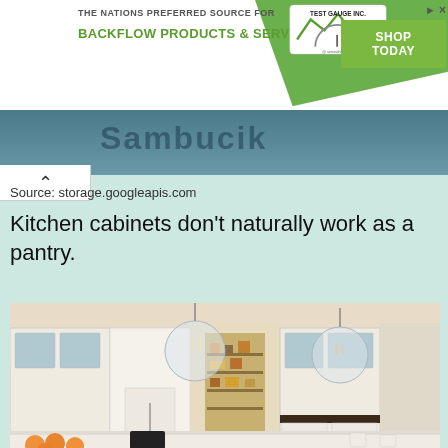[Figure (screenshot): Advertisement banner for backflow products and services by Test Gauge Inc. with green background and 'Shop Today' button]
[Figure (screenshot): Partial screenshot of a webpage showing a blurred header image of Sambucik sign, a back arrow, source URL, headline text, and kitchen photo]
Source: storage.googleapis.com
Kitchen cabinets don't naturally work as a pantry.
[Figure (photo): Elegant white kitchen with glass globe pendant lights, tall white cabinetry, a pantry doorway showing shelves stocked with food items, and a kitchen island with oranges in the foreground]